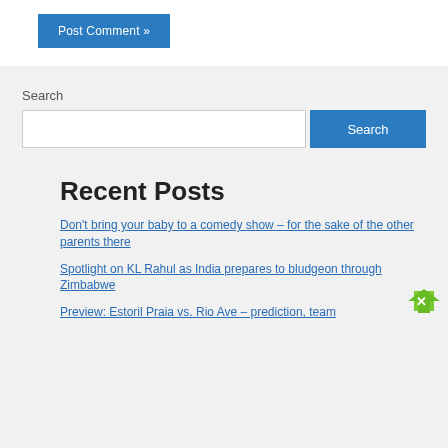Post Comment »
Search
Recent Posts
Don't bring your baby to a comedy show – for the sake of the other parents there
Spotlight on KL Rahul as India prepares to bludgeon through Zimbabwe
Preview: Estoril Praia vs. Rio Ave – prediction, team